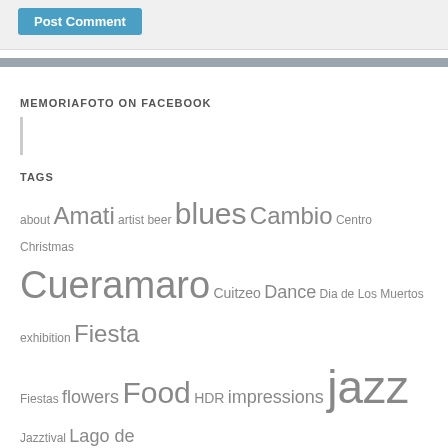[Figure (screenshot): Post Comment button in a gray form area]
MEMORIAFOTO ON FACEBOOK
[Figure (other): Facebook widget placeholder with left border line]
TAGS
about Amati artist beer blues Cambio Centro Christmas Cueramaro Cuitzeo Dance Dia de Los Muertos exhibition Fiesta Fiestas flowers Food HDR impressions jazz Jazztival Lago de Janitzio Me Mexico Michoacan Morela Morelia music Nurio One A Day percussion pets photo photos photowalk photowalks portraits Santa Maria Tacambaro Tlalpujahua Travel Umecuaro Uriangato walks writing